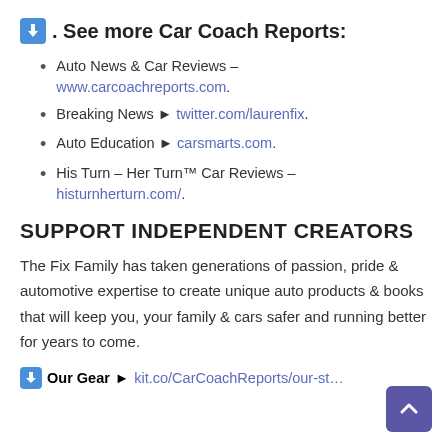⬇. See more Car Coach Reports:
Auto News & Car Reviews – www.carcoachreports.com.
Breaking News ► twitter.com/laurenfix.
Auto Education ► carsmarts.com.
His Turn – Her Turn™ Car Reviews – histurnherturn.com/.
SUPPORT INDEPENDENT CREATORS
The Fix Family has taken generations of passion, pride & automotive expertise to create unique auto products & books that will keep you, your family & cars safer and running better for years to come.
⬇ Our Gear ► kit.co/CarCoachReports/our-st…